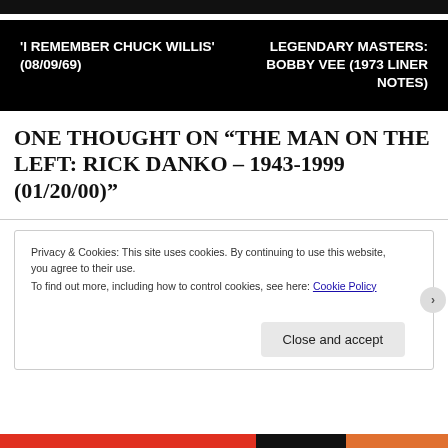'I REMEMBER CHUCK WILLIS' (08/09/69)
LEGENDARY MASTERS: BOBBY VEE (1973 LINER NOTES)
ONE THOUGHT ON “THE MAN ON THE LEFT: RICK DANKO – 1943-1999 (01/20/00)”
Privacy & Cookies: This site uses cookies. By continuing to use this website, you agree to their use.
To find out more, including how to control cookies, see here: Cookie Policy
Close and accept